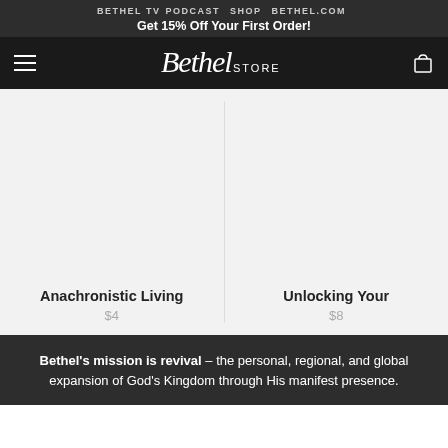BETHEL TV   PODCAST   SHOP   BETHEL.COM
Get 15% Off Your First Order!
[Figure (logo): Bethel Store logo in white script with STORE text]
Anachronistic Living
$4
Unlocking Your
$8
Bethel's mission is revival – the personal, regional, and global expansion of God's Kingdom through His manifest presence.